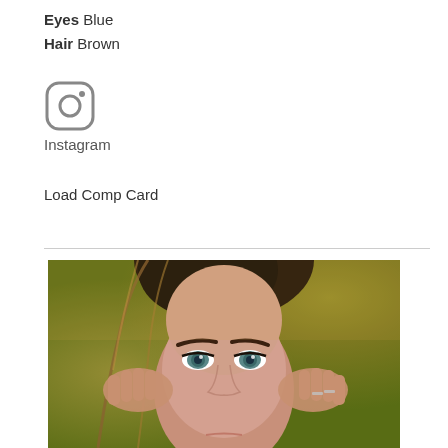Eyes Blue
Hair Brown
[Figure (logo): Instagram icon (camera logo outline in gray)]
Instagram
Load Comp Card
[Figure (photo): Close-up portrait of a woman with dark hair and blue/green eyes, hands raised to her temples, photographed outdoors with bokeh autumn foliage background]